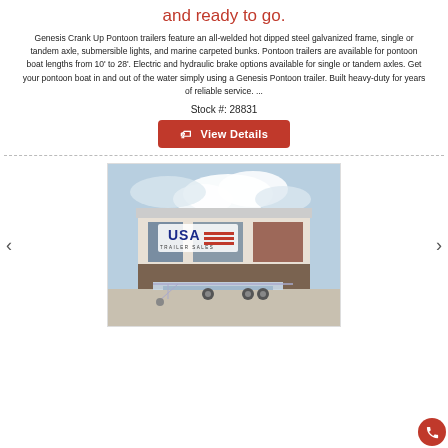and ready to go.
Genesis Crank Up Pontoon trailers feature an all-welded hot dipped steel galvanized frame, single or tandem axle, submersible lights, and marine carpeted bunks. Pontoon trailers are available for pontoon boat lengths from 10' to 28'. Electric and hydraulic brake options available for single or tandem axles. Get your pontoon boat in and out of the water simply using a Genesis Pontoon trailer. Built heavy-duty for years of reliable service. ...
Stock #: 28831
[Figure (screenshot): Red 'View Details' button with a price tag icon]
[Figure (photo): Photo of a galvanized pontoon trailer in a parking lot in front of a USA Trailer Sales building with a cloudy sky]